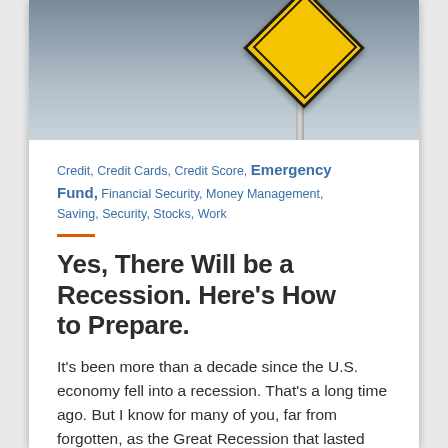[Figure (photo): A yellow diamond-shaped warning road sign on a metal pole against a cloudy grey sky background, partially cropped at the top of the page.]
Credit, Credit Cards, Credit Score, Emergency Fund, Financial Security, Money Management, Saving, Security, Stocks, Work
Yes, There Will be a Recession. Here's How to Prepare.
It's been more than a decade since the U.S. economy fell into a recession. That's a long time ago. But I know for many of you, far from forgotten, as the Great Recession that lasted from late